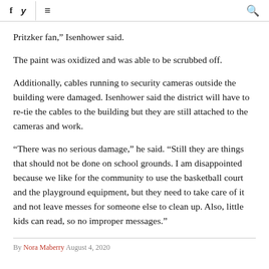Facebook Twitter menu search
Pritzker fan,' Isenhower said.
The paint was oxidized and was able to be scrubbed off.
Additionally, cables running to security cameras outside the building were damaged. Isenhower said the district will have to re-tie the cables to the building but they are still attached to the cameras and work.
“There was no serious damage,” he said. “Still they are things that should not be done on school grounds. I am disappointed because we like for the community to use the basketball court and the playground equipment, but they need to take care of it and not leave messes for someone else to clean up. Also, little kids can read, so no improper messages.”
By Nora Maberry August 4, 2020